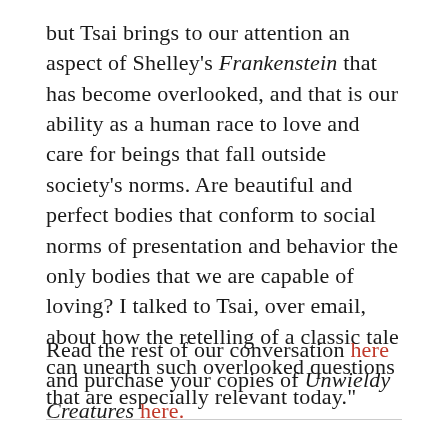but Tsai brings to our attention an aspect of Shelley's Frankenstein that has become overlooked, and that is our ability as a human race to love and care for beings that fall outside society's norms. Are beautiful and perfect bodies that conform to social norms of presentation and behavior the only bodies that we are capable of loving? I talked to Tsai, over email, about how the retelling of a classic tale can unearth such overlooked questions that are especially relevant today."
Read the rest of our conversation here and purchase your copies of Unwieldy Creatures here.